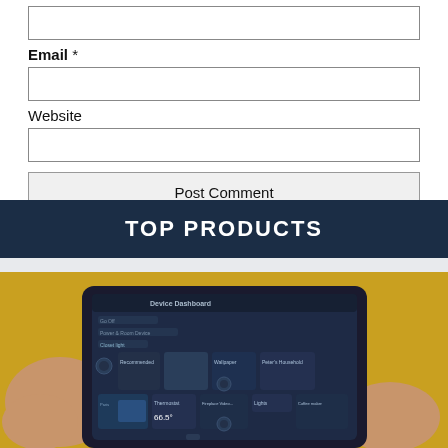Email *
Website
Post Comment
TOP PRODUCTS
[Figure (photo): Person holding a tablet showing a device dashboard smart home control interface with dark UI, yellow sweater visible in background]